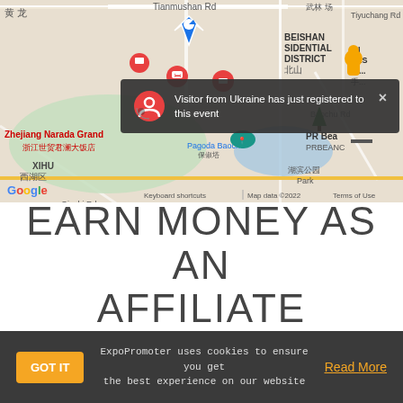[Figure (map): Google Maps screenshot showing Hangzhou area with Xihu district, Pagoda Baochu, PR Bea PRBEANG, and Zhejiang Narada Grand hotel label. Notification overlay: 'Visitor from Ukraine has just registered to this event'. Map data ©2022.]
EARN MONEY AS AN AFFILIATE
ExpoPromoter uses cookies to ensure you get the best experience on our website
GOT IT
Read More